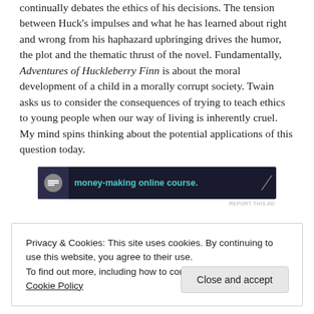continually debates the ethics of his decisions. The tension between Huck's impulses and what he has learned about right and wrong from his haphazard upbringing drives the humor, the plot and the thematic thrust of the novel. Fundamentally, Adventures of Huckleberry Finn is about the moral development of a child in a morally corrupt society. Twain asks us to consider the consequences of trying to teach ethics to young people when our way of living is inherently cruel. My mind spins thinking about the potential applications of this question today.
[Figure (other): Advertisement banner with dark background showing 'money-making online course.' text in teal color with a circular icon on the left and a slash graphic on the right.]
REPORT THIS AD
Privacy & Cookies: This site uses cookies. By continuing to use this website, you agree to their use.
To find out more, including how to control cookies, see here: Cookie Policy
Close and accept